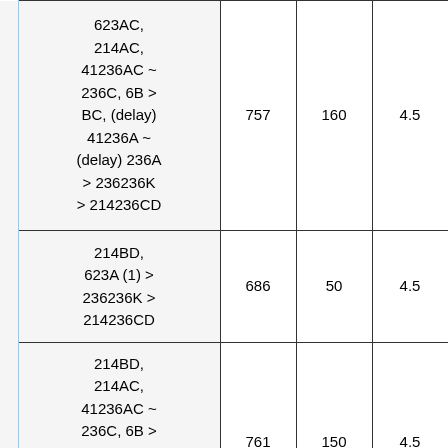| Description | Value1 | Value2 | Value3 |
| --- | --- | --- | --- |
| 623AC, 214AC, 41236AC ~ 236C, 6B > BC, (delay) 41236A ~ (delay) 236A > 236236K > 214236CD | 757 | 160 | 4.5 |
| 214BD, 623A (1) > 236236K > 214236CD | 686 | 50 | 4.5 |
| 214BD, 214AC, 41236AC ~ 236C, 6B > BC, 41236A, 623A (1) > 236236K > 214236CD | 761 | 150 | 4.5 |